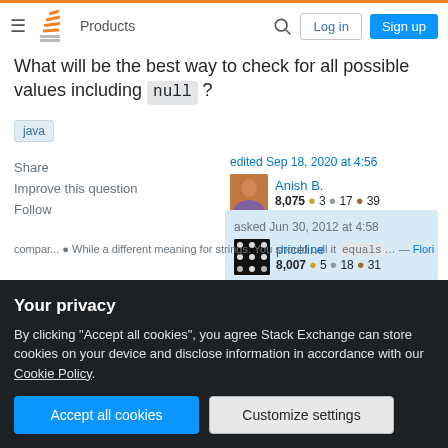Stack Overflow navigation bar with hamburger, logo, Products, search, Log in, Sign up
What will be the best way to check for all possible values including null ?
java (tag)
Share
Improve this question
Follow
edited Sep 18, 2020 at 4:56
Anish B.
8,075 ● 3 ● 17 ● 39
asked Jun 30, 2012 at 4:58
priceline
8,007 ● 5 ● 18 ● 31
Your privacy
By clicking "Accept all cookies", you agree Stack Exchange can store cookies on your device and disclose information in accordance with our Cookie Policy.
Accept all cookies   Customize settings